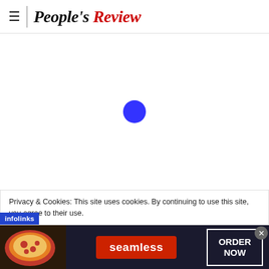People's Review
[Figure (other): Blue circular loading spinner centered on white background]
Privacy & Cookies: This site uses cookies. By continuing to use this site, you agree to their use.
[Figure (infographic): Seamless food delivery advertisement banner with pizza image on left, seamless logo in center on red background, and ORDER NOW button on right, on dark background. Infolinks badge overlaid on left side.]